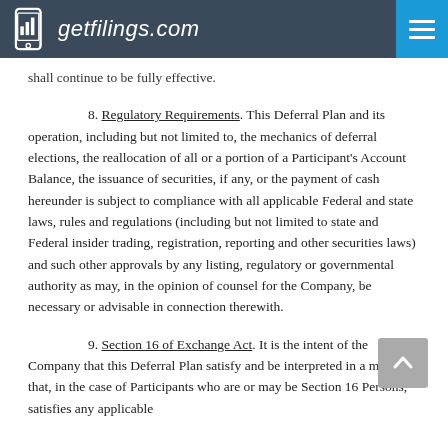getfilings.com
shall continue to be fully effective.
8. Regulatory Requirements. This Deferral Plan and its operation, including but not limited to, the mechanics of deferral elections, the reallocation of all or a portion of a Participant's Account Balance, the issuance of securities, if any, or the payment of cash hereunder is subject to compliance with all applicable Federal and state laws, rules and regulations (including but not limited to state and Federal insider trading, registration, reporting and other securities laws) and such other approvals by any listing, regulatory or governmental authority as may, in the opinion of counsel for the Company, be necessary or advisable in connection therewith.
9. Section 16 of Exchange Act. It is the intent of the Company that this Deferral Plan satisfy and be interpreted in a manner, that, in the case of Participants who are or may be Section 16 Persons, satisfies any applicable